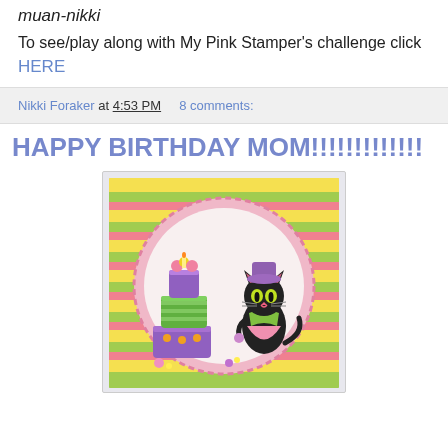muan-nikki
To see/play along with My Pink Stamper's challenge click HERE
Nikki Foraker at 4:53 PM   8 comments:
HAPPY BIRTHDAY MOM!!!!!!!!!!!!!
[Figure (photo): A handmade birthday card featuring a cartoon black cat wearing a purple hat and pink dress, standing next to a tall stacked birthday cake with colorful decorations, on a striped background with a pink oval frame.]